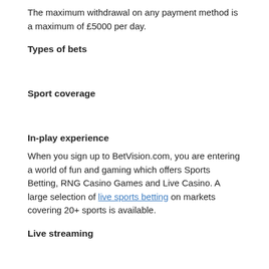The maximum withdrawal on any payment method is a maximum of £5000 per day.
Types of bets
Sport coverage
In-play experience
When you sign up to BetVision.com, you are entering a world of fun and gaming which offers Sports Betting, RNG Casino Games and Live Casino. A large selection of live sports betting on markets covering 20+ sports is available.
Live streaming
How easy to the eye is the BetVision website?